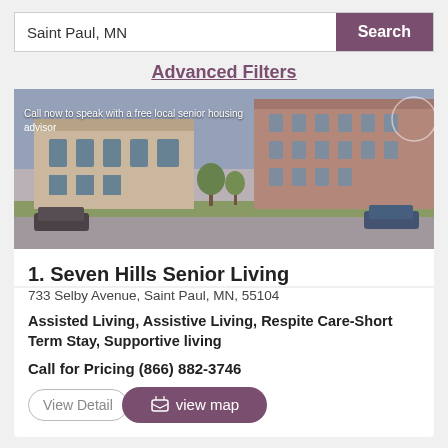Saint Paul, MN
Search
Advanced Filters
[Figure (photo): Exterior photo of Seven Hills Senior Living building, a multi-story brick apartment complex with a parking lot in front. Overlay text reads: Call now to speak with a free local senior housing advisor]
1. Seven Hills Senior Living
733 Selby Avenue, Saint Paul, MN, 55104
Assisted Living, Assistive Living, Respite Care-Short Term Stay, Supportive living
Call for Pricing (866) 882-3746
View Details
view map